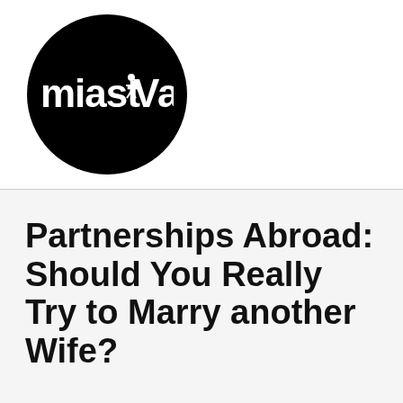[Figure (logo): Miastva logo: black circle with white bold text reading 'miastVa' where the 'o' letter has a small person icon above it and the 'V' is stylized]
Partnerships Abroad: Should You Really Try to Marry another Wife?